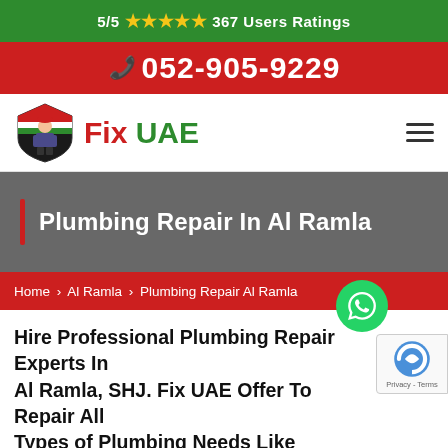5/5 ★★★★★ 367 Users Ratings
📞 052-905-9229
[Figure (logo): Fix UAE logo with plumber mascot wearing UAE flag-themed cap, red 'Fix' and green 'UAE' text]
Plumbing Repair In Al Ramla
Home > Al Ramla > Plumbing Repair Al Ramla
Hire Professional Plumbing Repair Experts In Al Ramla, SHJ. Fix UAE Offer To Repair All Types of Plumbing Needs Like Emergency